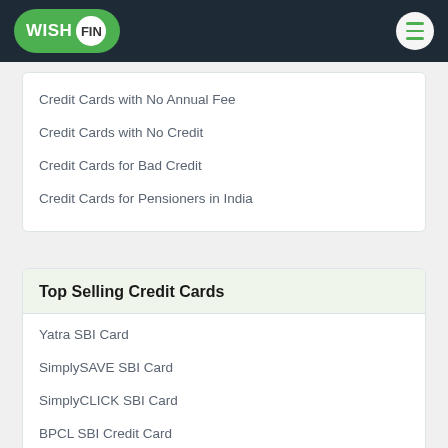WISHFIN
Credit Cards with No Annual Fee
Credit Cards with No Credit
Credit Cards for Bad Credit
Credit Cards for Pensioners in India
Top Selling Credit Cards
Yatra SBI Card
SimplySAVE SBI Card
SimplyCLICK SBI Card
BPCL SBI Credit Card
Fbb SBI STYLEUP Card